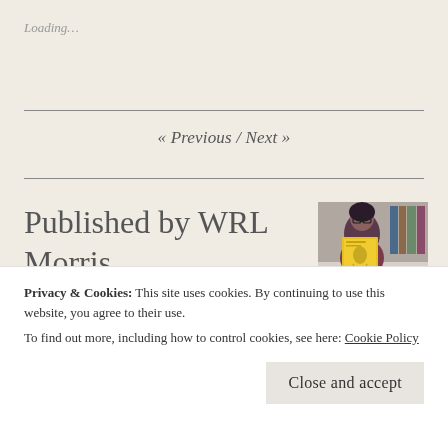Loading…
« Previous  /  Next »
Published by WRL Morris
[Figure (photo): Person holding a yellow book cover in front of their face, standing in front of a bookshelf]
Privacy & Cookies: This site uses cookies. By continuing to use this website, you agree to their use.
To find out more, including how to control cookies, see here: Cookie Policy
Close and accept